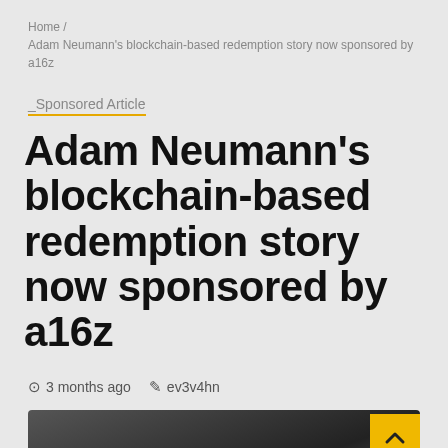Home / Adam Neumann's blockchain-based redemption story now sponsored by a16z
_Sponsored Article
Adam Neumann's blockchain-based redemption story now sponsored by a16z
2 min read
3 months ago  ev3v4hn
[Figure (photo): A blurry photo showing fire and smoke against a dark background.]